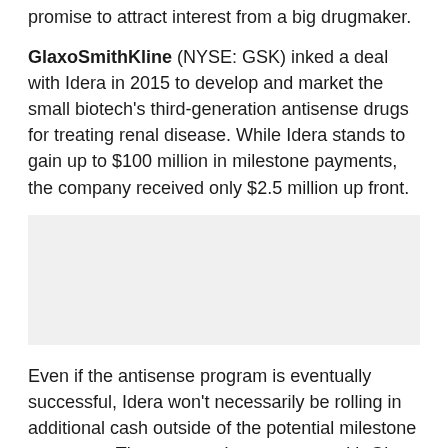promise to attract interest from a big drugmaker.
GlaxoSmithKline (NYSE: GSK) inked a deal with Idera in 2015 to develop and market the small biotech's third-generation antisense drugs for treating renal disease. While Idera stands to gain up to $100 million in milestone payments, the company received only $2.5 million up front.
[Figure (other): Gray placeholder box, likely an advertisement or image area]
Even if the antisense program is eventually successful, Idera won't necessarily be rolling in additional cash outside of the potential milestone payments. The company's agreement with Glaxo allows Idera to receive royalties up to only 5% – and they don't kick in until annual sales top $500 million.